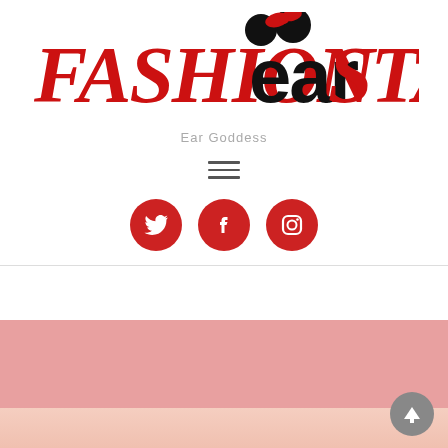[Figure (logo): Fashionearsta logo with red serif italic FASHION text, black bold EARSTA text, and Minnie Mouse ear icon with red bow above the 'ear' portion]
Ear Goddess
[Figure (illustration): Hamburger menu icon (three horizontal lines)]
[Figure (infographic): Three red circular social media icons: Twitter (bird), Facebook (f), Instagram (camera)]
[Figure (photo): Pink/salmon colored band section]
[Figure (photo): Partial photo at bottom showing light pink/peach blurred image]
[Figure (illustration): Gray circular back-to-top arrow button in bottom right corner]